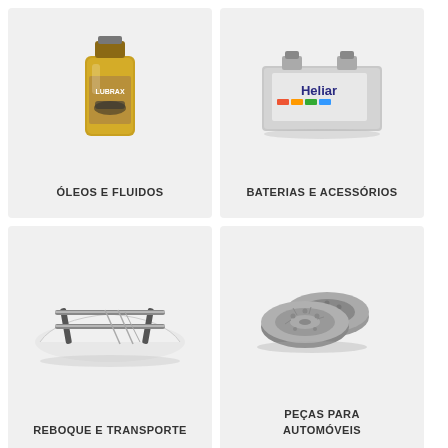[Figure (illustration): Yellow Lubrax motor oil bottle with a car illustration on the label]
ÓLEOS E FLUIDOS
[Figure (illustration): Heliar car battery, silver colored with colorful logo]
BATERIAS E ACESSÓRIOS
[Figure (illustration): Car roof rack / tow bar accessory parts on a white car roof]
REBOQUE E TRANSPORTE
[Figure (illustration): Two brake discs / rotors for automobiles]
PEÇAS PARA AUTOMÓVEIS
[Figure (illustration): Partially visible product at bottom left (round, blue/white)]
[Figure (illustration): Partially visible product at bottom right (dark round object)]